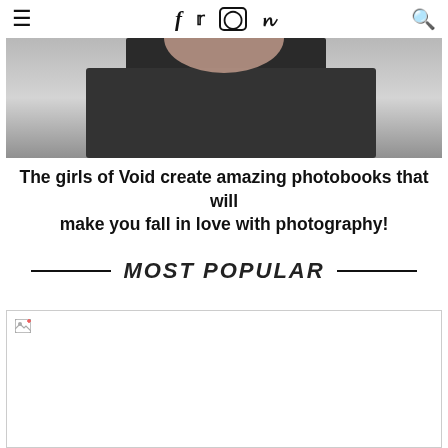☰  f  🐦  📷  P  🔍
[Figure (photo): Partial photo of a person in black clothing, cropped at the top]
The girls of Void create amazing photobooks that will make you fall in love with photography!
MOST POPULAR
[Figure (photo): Image placeholder with broken image icon, white background]